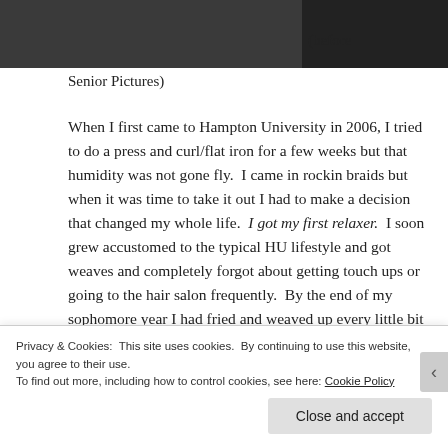[Figure (photo): Partial photo of a person, cropped at top showing shoulders and hair on dark background]
(before Senior Pictures)
When I first came to Hampton University in 2006, I tried to do a press and curl/flat iron for a few weeks but that humidity was not gone fly.  I came in rockin braids but when it was time to take it out I had to make a decision that changed my whole life.  I got my first relaxer.  I soon grew accustomed to the typical HU lifestyle and got weaves and completely forgot about getting touch ups or going to the hair salon frequently.  By the end of my sophomore year I had fried and weaved up every little bit of the hair I had, so much that it became to fall out.  It wasn't until I gotten to my
Privacy & Cookies: This site uses cookies.  By continuing to use this website, you agree to their use.
To find out more, including how to control cookies, see here: Cookie Policy
Close and accept